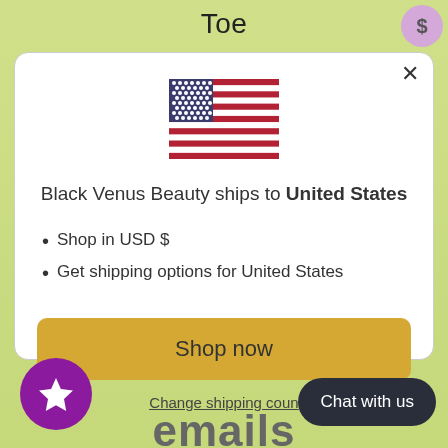Toe
[Figure (illustration): US flag emoji/icon]
Black Venus Beauty ships to United States
Shop in USD $
Get shipping options for United States
Shop now
Change shipping country
Chat with us
emails